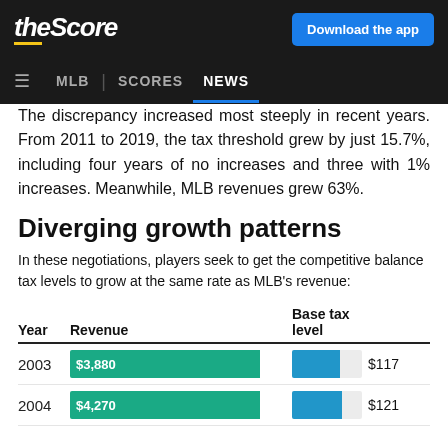theScore | Download the app | MLB | SCORES | NEWS
The discrepancy increased most steeply in recent years. From 2011 to 2019, the tax threshold grew by just 15.7%, including four years of no increases and three with 1% increases. Meanwhile, MLB revenues grew 63%.
Diverging growth patterns
In these negotiations, players seek to get the competitive balance tax levels to grow at the same rate as MLB's revenue:
| Year | Revenue | Base tax level |
| --- | --- | --- |
| 2003 | $3,880 | $117 |
| 2004 | $4,270 | $121 |